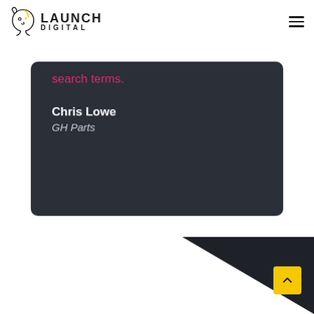[Figure (logo): Launch Digital logo with stylized animal head icon and text LAUNCH DIGITAL]
search terms.
Chris Lowe
GH Parts
[Figure (illustration): Dark triangular shape in bottom-right corner of page, suggesting a footer graphic or background design element]
[Figure (other): Yellow scroll-to-top button with upward chevron arrow in bottom-right corner]